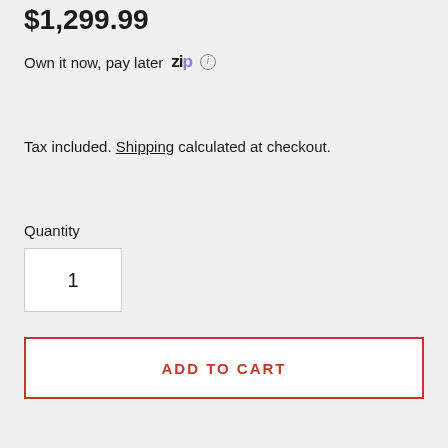$1,299.99
Own it now, pay later Zip ℹ
Tax included. Shipping calculated at checkout.
Quantity
1
ADD TO CART
6785 Pieces